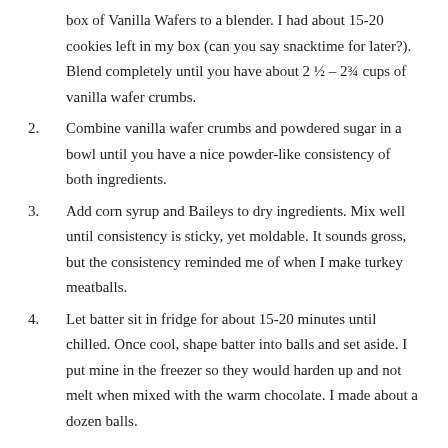box of Vanilla Wafers to a blender. I had about 15-20 cookies left in my box (can you say snacktime for later?). Blend completely until you have about 2 ½ – 2¾ cups of vanilla wafer crumbs.
2. Combine vanilla wafer crumbs and powdered sugar in a bowl until you have a nice powder-like consistency of both ingredients.
3. Add corn syrup and Baileys to dry ingredients. Mix well until consistency is sticky, yet moldable. It sounds gross, but the consistency reminded me of when I make turkey meatballs.
4. Let batter sit in fridge for about 15-20 minutes until chilled. Once cool, shape batter into balls and set aside. I put mine in the freezer so they would harden up and not melt when mixed with the warm chocolate. I made about a dozen balls.